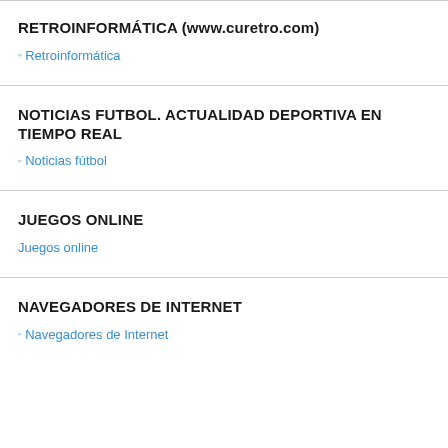RETROINFORMÁTICA (www.curetro.com)
◦Retroinformática
NOTICIAS FUTBOL. ACTUALIDAD DEPORTIVA EN TIEMPO REAL
◦Noticias fútbol
JUEGOS ONLINE
Juegos online
NAVEGADORES DE INTERNET
◦Navegadores de Internet